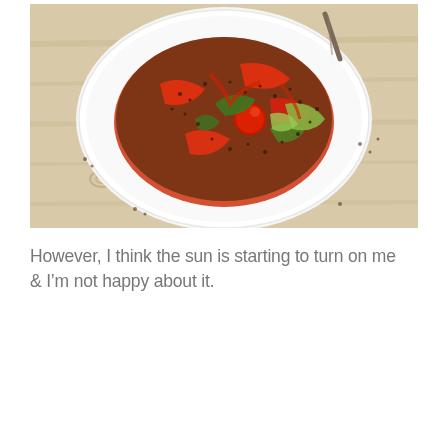[Figure (photo): Overhead photograph of a white bowl filled with quinoa salad topped with roasted red peppers, cherry tomatoes, green vegetables (snap peas or herbs), and a drizzle of red sauce, set on a light wood surface. A fork is visible at the top right.]
However, I think the sun is starting to turn on me & I'm not happy about it.